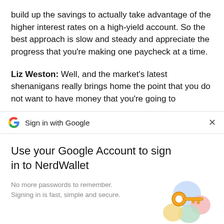build up the savings to actually take advantage of the higher interest rates on a high-yield account. So the best approach is slow and steady and appreciate the progress that you're making one paycheck at a time.
Liz Weston: Well, and the market's latest shenanigans really brings home the point that you do not want to have money that you're going to
[Figure (screenshot): Google Sign-in bar with Google 'G' logo and text 'Sign in with Google' and a close X button on the right]
Use your Google Account to sign in to NerdWallet
No more passwords to remember.
Signing in is fast, simple and secure.
[Figure (illustration): Illustration of a golden key with colorful circular background shapes in blue, pink, green, and yellow]
Continue